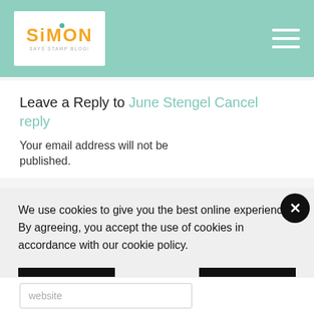[Figure (logo): Simon Says Stamp Blog logo with orange text and teal accent, in white box on teal header]
Leave a Reply to June Stengel Cancel reply
Your email address will not be published.
We use cookies to give you the best online experience. By agreeing, you accept the use of cookies in accordance with our cookie policy.
DECLINE
I ACCEPT
Privacy Policy   Cookie Policy
website